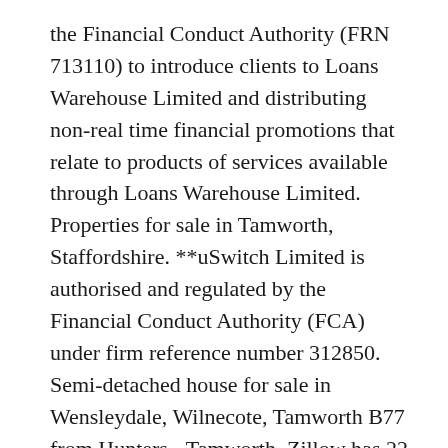the Financial Conduct Authority (FRN 713110) to introduce clients to Loans Warehouse Limited and distributing non-real time financial promotions that relate to products of services available through Loans Warehouse Limited. Properties for sale in Tamworth, Staffordshire. **uSwitch Limited is authorised and regulated by the Financial Conduct Authority (FCA) under firm reference number 312850. Semi-detached house for sale in Wensleydale, Wilnecote, Tamworth B77 from Hunters - Tamworth. Zillow has 22 homes for sale in Tamworth NH. Property For Sale > Staffordshire > Tamworth > B77 > B77 ... Check it out! The property itself sits within a quiet cul de sac and would be ideal for a...